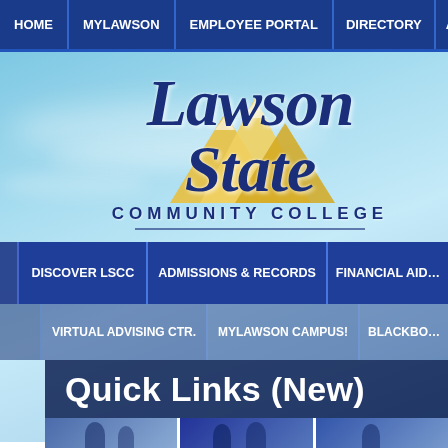HOME | MYLAWSON | EMPLOYEE PORTAL | DIRECTORY | ACA…
[Figure (logo): Lawson State Community College logo with mountain graphic on light blue sky background]
DISCOVER LSCC | ADMISSIONS & RECORDS | FINANCIAL AID…
VIRTUAL ADVISING CTR. | MYLAWSON CAMPUS! | BLACKBO…
Quick Links (New)
[Figure (photo): Bottom photo strip showing students in blue tinted photos]